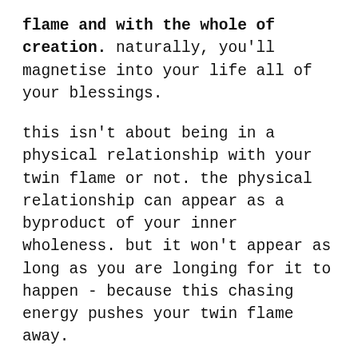flame and with the whole of creation. naturally, you'll magnetise into your life all of your blessings.
this isn't about being in a physical relationship with your twin flame or not. the physical relationship can appear as a byproduct of your inner wholeness. but it won't appear as long as you are longing for it to happen - because this chasing energy pushes your twin flame away.
it doesn't matter where your twin flame is or what they are doing, saying or thinking: they are you, here and now, and there's nothing any of you can do to change that. you are being them and they